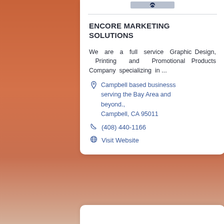[Figure (logo): Partial logo/image at the top of the card, cropped]
ENCORE MARKETING SOLUTIONS
We are a full service Graphic Design, Printing and Promotional Products Company specializing in...
Campbell based businesss serving the Bay Area and beyond., Campbell, CA 95011
(408) 440-1166
Visit Website